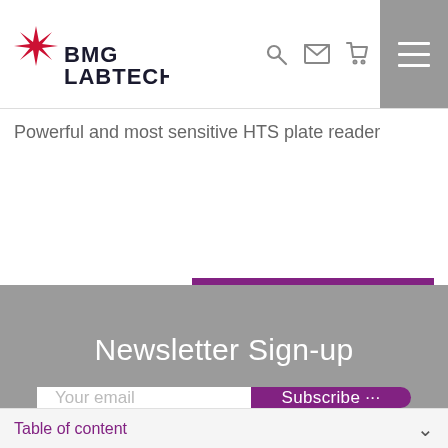[Figure (logo): BMG LABTECH logo with red star/compass icon and bold text 'BMG LABTECH']
Powerful and most sensitive HTS plate reader
[Figure (other): Read more button — purple rectangle with white text 'Read more']
Newsletter Sign-up
[Figure (other): Email subscription form with 'Your email' input field and purple 'Subscribe' button]
Table of content